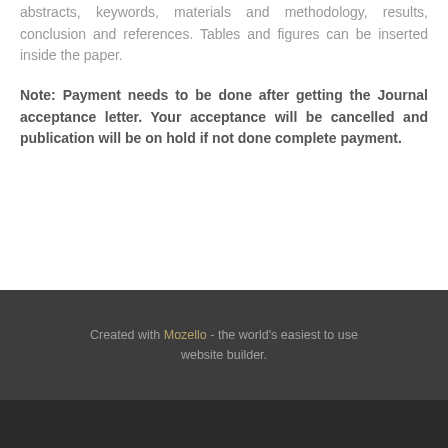abstracts, keywords, materials and methodology, results, conclusion and references. Tables and figures can be inserted inside the paper.
Note: Payment needs to be done after getting the Journal acceptance letter. Your acceptance will be cancelled and publication will be on hold if not done complete payment.
Created with Mozello - the world's easiest to use website builder.